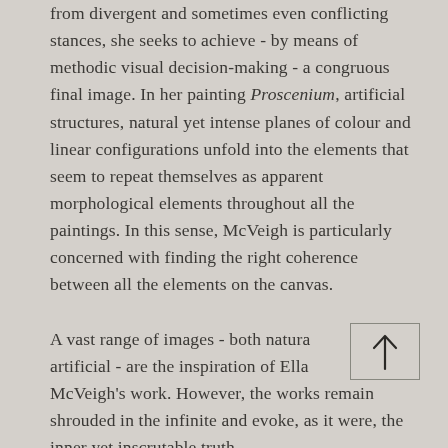from divergent and sometimes even conflicting stances, she seeks to achieve - by means of methodic visual decision-making - a congruous final image. In her painting Proscenium, artificial structures, natural yet intense planes of colour and linear configurations unfold into the elements that seem to repeat themselves as apparent morphological elements throughout all the paintings. In this sense, McVeigh is particularly concerned with finding the right coherence between all the elements on the canvas.

A vast range of images - both natural and artificial - are the inspiration of Ella McVeigh's work. However, the works remain shrouded in the infinite and evoke, as it were, the inner yet inscrutable truth
[Figure (other): An upward-pointing arrow icon inside a rectangular box outline, positioned over the text in the lower right area of the page.]